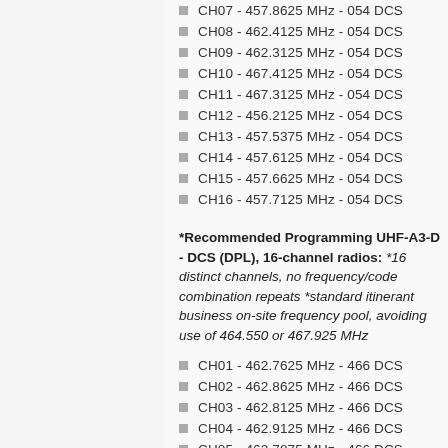CH07 - 457.8625 MHz - 054 DCS
CH08 - 462.4125 MHz - 054 DCS
CH09 - 462.3125 MHz - 054 DCS
CH10 - 467.4125 MHz - 054 DCS
CH11 - 467.3125 MHz - 054 DCS
CH12 - 456.2125 MHz - 054 DCS
CH13 - 457.5375 MHz - 054 DCS
CH14 - 457.6125 MHz - 054 DCS
CH15 - 457.6625 MHz - 054 DCS
CH16 - 457.7125 MHz - 054 DCS
*Recommended Programming UHF-A3-D - DCS (DPL), 16-channel radios: *16 distinct channels, no frequency/code combination repeats *standard itinerant business on-site frequency pool, avoiding use of 464.550 or 467.925 MHz
CH01 - 462.7625 MHz - 466 DCS
CH02 - 462.8625 MHz - 466 DCS
CH03 - 462.8125 MHz - 466 DCS
CH04 - 462.9125 MHz - 466 DCS
CH05 - 462.7875 MHz - 466 DCS